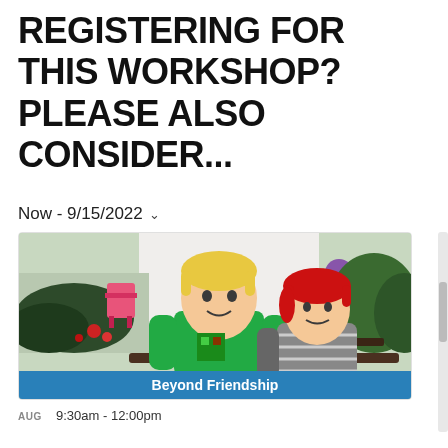REGISTERING FOR THIS WORKSHOP? PLEASE ALSO CONSIDER...
Now - 9/15/2022 ∨
[Figure (photo): Two children sitting together outdoors in a garden setting. One child wears a green Minecraft t-shirt, the other wears a grey striped shirt with red hair. A pink Adirondack chair and flowers are visible in the background. A blue banner at the bottom reads 'Beyond Friendship'.]
AUG    9:30am - 12:00pm